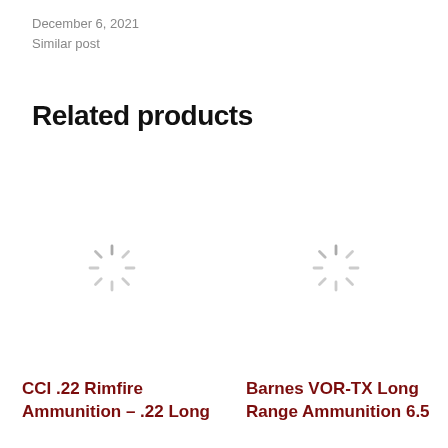December 6, 2021
Similar post
Related products
[Figure (illustration): Loading spinner icon for product image placeholder, left product card]
[Figure (illustration): Loading spinner icon for product image placeholder, right product card]
CCI .22 Rimfire Ammunition – .22 Long
Barnes VOR-TX Long Range Ammunition 6.5